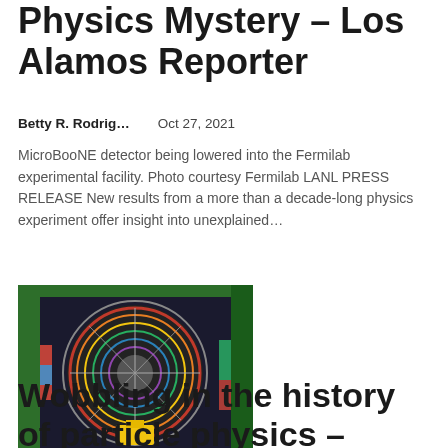Physics Mystery – Los Alamos Reporter
Betty R. Rodrig…    Oct 27, 2021
MicroBooNE detector being lowered into the Fermilab experimental facility. Photo courtesy Fermilab LANL PRESS RELEASE New results from a more than a decade-long physics experiment offer insight into unexplained…
[Figure (photo): Photograph of a large particle detector (likely the CMS detector at CERN or similar), showing a circular cross-section with colorful wiring and green structural frames, being serviced or assembled in an experimental facility.]
Wobbling in the history of particle physics – now.